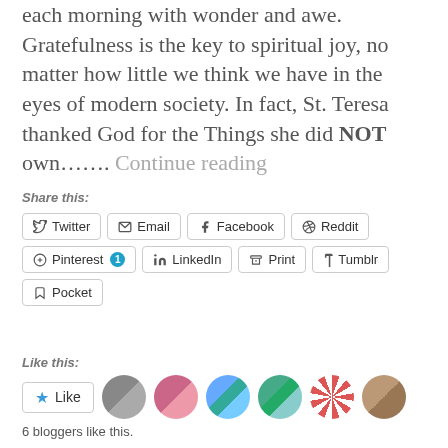each morning with wonder and awe. Gratefulness is the key to spiritual joy, no matter how little we think we have in the eyes of modern society. In fact, St. Teresa thanked God for the Things she did NOT own……. Continue reading
Share this:
Twitter  Email  Facebook  Reddit  Pinterest 1  LinkedIn  Print  Tumblr  Pocket
Like this:
Like
6 bloggers like this.